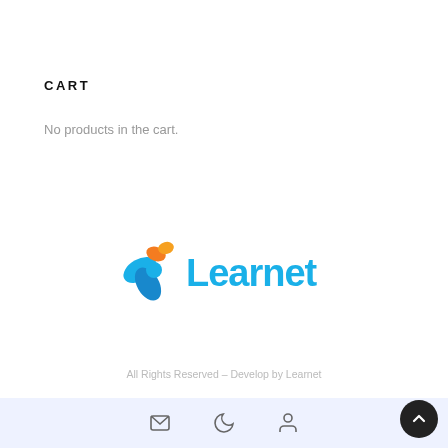CART
No products in the cart.
[Figure (logo): Learnet logo with a blue and orange pinwheel/leaf icon and the word 'Learnet' in blue text]
All Rights Reserved – Develop by Learnet